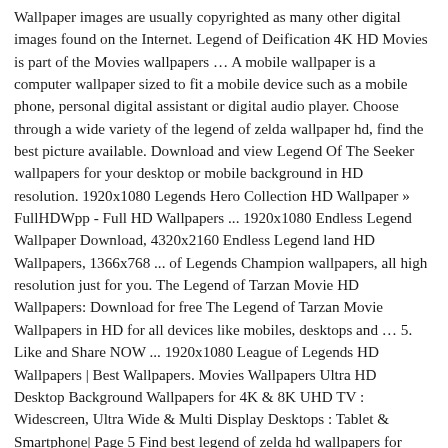Wallpaper images are usually copyrighted as many other digital images found on the Internet. Legend of Deification 4K HD Movies is part of the Movies wallpapers … A mobile wallpaper is a computer wallpaper sized to fit a mobile device such as a mobile phone, personal digital assistant or digital audio player. Choose through a wide variety of the legend of zelda wallpaper hd, find the best picture available. Download and view Legend Of The Seeker wallpapers for your desktop or mobile background in HD resolution. 1920x1080 Legends Hero Collection HD Wallpaper » FullHDWpp - Full HD Wallpapers ... 1920x1080 Endless Legend Wallpaper Download, 4320x2160 Endless Legend land HD Wallpapers, 1366x768 ... of Legends Champion wallpapers, all high resolution just for you. The Legend of Tarzan Movie HD Wallpapers: Download for free The Legend of Tarzan Movie Wallpapers in HD for all devices like mobiles, desktops and … 5. Like and Share NOW ... 1920x1080 League of Legends HD Wallpapers | Best Wallpapers. Movies Wallpapers Ultra HD Desktop Background Wallpapers for 4K & 8K UHD TV : Widescreen, Ultra Wide & Multi Display Desktops : Tablet & Smartphone| Page 5 Find best legend of zelda hd wallpapers for mobile and ideas by device, resolution, and quality (HD, 4k) from a curated website list. Download High resolution Movie Wallpapers for HD & Widescreen Monitors. Feel free to send us your own wallpaper and we will consider adding it to appropriate category. Looking for the best Legend Backgrounds? home latest wallpapers ... wallpapers ... desktop wallpapers ... desktop ...